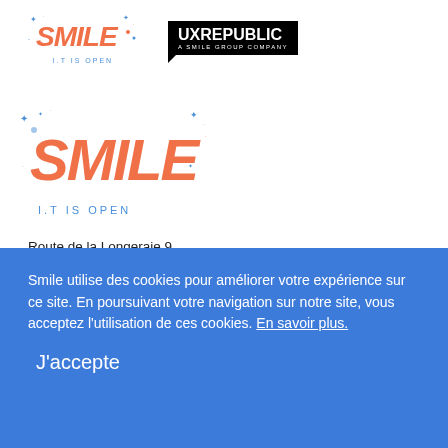[Figure (logo): Smile I.T. IS OPEN logo (top, small) and UX Republic A Smile Group Company logo side by side]
[Figure (logo): Smile I.T. IS OPEN large logo with sparkles]
Route de la Longeraie 9
1110 Morges, Suisse
T +41 21 544 28 00
CONTACTEZ-NOUS
Plan du site
Smile utilise des cookies pour améliorer votre expérience sur ce site. En poursuivant votre navigation sur notre site, vous acceptez l'utilisation de ces cookies. En savoir plus.
J'accepte